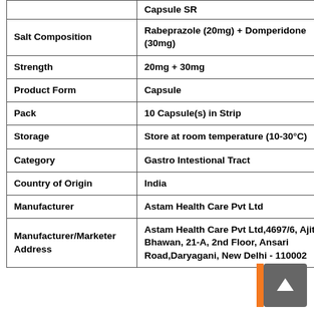| Property | Value |
| --- | --- |
|  | Capsule SR |
| Salt Composition | Rabeprazole (20mg) + Domperidone (30mg) |
| Strength | 20mg + 30mg |
| Product Form | Capsule |
| Pack | 10 Capsule(s) in Strip |
| Storage | Store at room temperature (10-30°C) |
| Category | Gastro Intestional Tract |
| Country of Origin | India |
| Manufacturer | Astam Health Care Pvt Ltd |
| Manufacturer/Marketer Address | Astam Health Care Pvt Ltd,4697/6, Ajit Bhawan, 21-A, 2nd Floor, Ansari Road,Daryagani, New Delhi - 110002 |